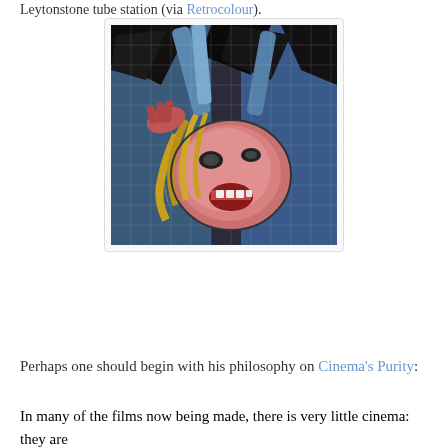Leytonstone tube station (via Retrocolour).
[Figure (photo): A mosaic artwork at Leytonstone tube station depicting a screaming face with wild hair and dramatic dark and colourful tile work.]
Perhaps one should begin with his philosophy on Cinema's Purity:
In many of the films now being made, there is very little cinema: they are